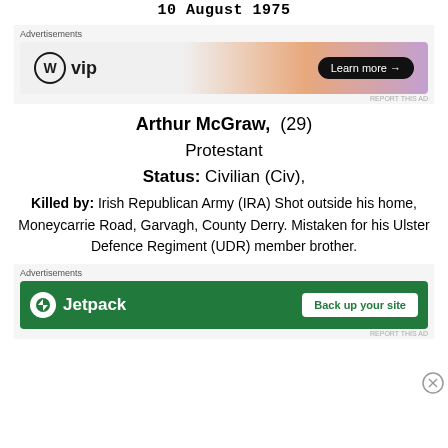10 August 1975
[Figure (screenshot): WordPress VIP advertisement banner with 'Learn more' button]
Arthur McGraw, (29)
Protestant
Status: Civilian (Civ),
Killed by: Irish Republican Army (IRA) Shot outside his home, Moneycarrie Road, Garvagh, County Derry. Mistaken for his Ulster Defence Regiment (UDR) member brother.
[Figure (screenshot): Jetpack advertisement banner with 'Back up your site' button]